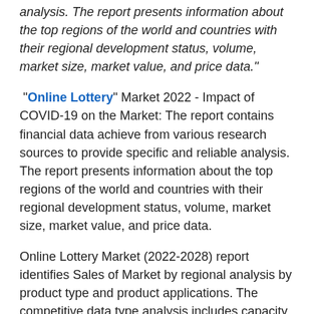analysis. The report presents information about the top regions of the world and countries with their regional development status, volume, market size, market value, and price data."
"Online Lottery" Market 2022 - Impact of COVID-19 on the Market: The report contains financial data achieve from various research sources to provide specific and reliable analysis. The report presents information about the top regions of the world and countries with their regional development status, volume, market size, market value, and price data.
Online Lottery Market (2022-2028) report identifies Sales of Market by regional analysis by product type and product applications. The competitive data type analysis includes capacity, market trends, profit margin, market growth, imports, exports, revenue and Marketing strategies, policies, industry chain analysis that are changing the wave of the market are also catered in the report. The Report provides potential market opportunities and Major Regions that plays a vital role in market are North America, Europe,